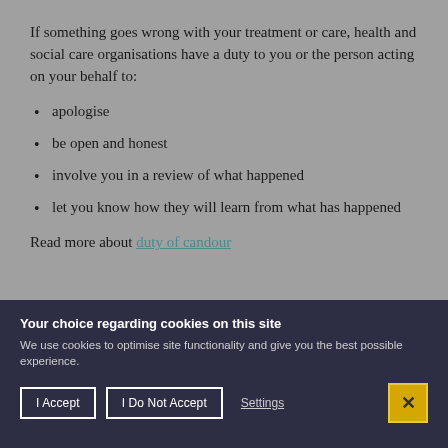If something goes wrong with your treatment or care, health and social care organisations have a duty to you or the person acting on your behalf to:
apologise
be open and honest
involve you in a review of what happened
let you know how they will learn from what has happened
Read more about duty of candour
Your choice regarding cookies on this site
We use cookies to optimise site functionality and give you the best possible experience.